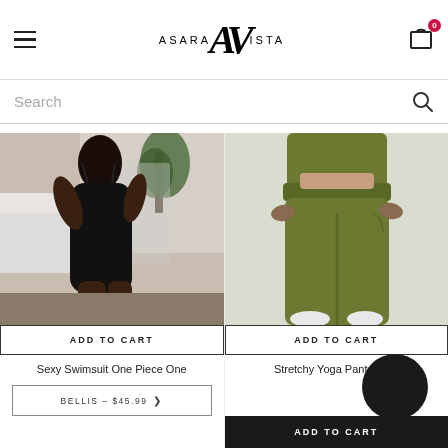ASARA VISTA — Navigation header with hamburger menu, logo, and cart icon (0 items)
Search
[Figure (photo): Woman in black one-piece cut-out swimsuit posing in front of mirror in bedroom setting]
ADD TO CART
Sexy Swimsuit One Piece One
BELLIS - $45.99
[Figure (photo): Woman wearing olive green high-waist stretchy yoga pants, cropped at torso and legs]
ADD TO CART
Stretchy Yoga Pants High
ADD TO CART